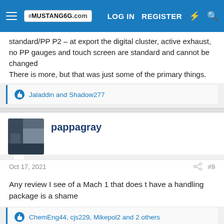MUSTANG6G.com | LOG IN | REGISTER
standard/PP P2 – at export the digital cluster, active exhaust, no PP gauges and touch screen are standard and cannot be changed
There is more, but that was just some of the primary things.
👍 Jaladdin and Shadow277
pappagray
Oct 17, 2021
#9
Any review I see of a Mach 1 that does t have a handling package is a shame
👍 ChemEng44, cjs229, Mikepol2 and 2 others